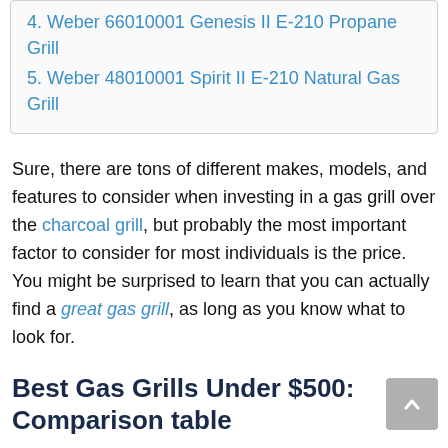4. Weber 66010001 Genesis II E-210 Propane Grill
5. Weber 48010001 Spirit II E-210 Natural Gas Grill
Sure, there are tons of different makes, models, and features to consider when investing in a gas grill over the charcoal grill, but probably the most important factor to consider for most individuals is the price. You might be surprised to learn that you can actually find a great gas grill, as long as you know what to look for.
Best Gas Grills Under $500: Comparison table